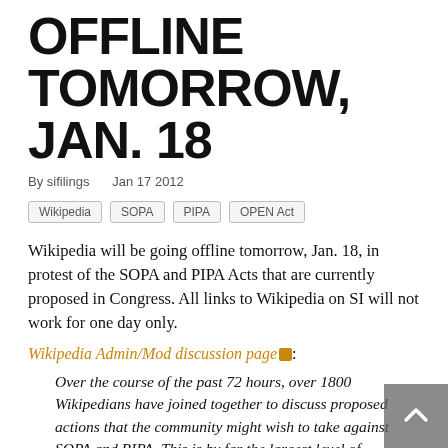OFFLINE TOMORROW, JAN. 18
By sifilings   Jan 17 2012
Wikipedia
SOPA
PIPA
OPEN Act
Wikipedia will be going offline tomorrow, Jan. 18, in protest of the SOPA and PIPA Acts that are currently proposed in Congress. All links to Wikipedia on SI will not work for one day only.
Wikipedia Admin/Mod discussion page:
Over the course of the past 72 hours, over 1800 Wikipedians have joined together to discuss proposed actions that the community might wish to take against SOPA and PIPA. This is by far the largest level of participation in a community discussion ever seen on Wikipedia, which illustrates the level of concern that Wikipedians feel about this proposed legislation. The overwhelming majority of participants support community action to encourage greater public